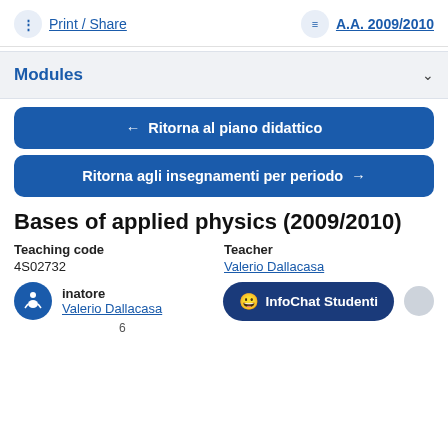Print / Share   A.A. 2009/2010
Modules
← Ritorna al piano didattico
Ritorna agli insegnamenti per periodo →
Bases of applied physics (2009/2010)
Teaching code
4S02732
Teacher
Valerio Dallacasa
inatore
Valerio Dallacasa
InfoChat Studenti
6